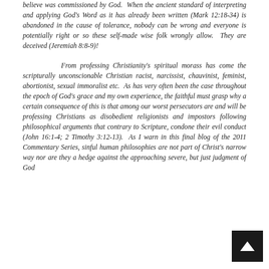believe was commissioned by God.  When the ancient standard of interpreting and applying God's Word as it has already been written (Mark 12:18-34) is abandoned in the cause of tolerance, nobody can be wrong and everyone is potentially right or so these self-made wise folk wrongly allow.  They are deceived (Jeremiah 8:8-9)!
From professing Christianity's spiritual morass has come the scripturally unconscionable Christian racist, narcissist, chauvinist, feminist, abortionist, sexual immoralist etc.  As has very often been the case throughout the epoch of God's grace and my own experience, the faithful must grasp why a certain consequence of this is that among our worst persecutors are and will be professing Christians as disobedient religionists and impostors following philosophical arguments that contrary to Scripture, condone their evil conduct (John 16:1-4; 2 Timothy 3:12-13).  As I warn in this final blog of the 2011 Commentary Series, sinful human philosophies are not part of Christ's narrow way nor are they a hedge against the approaching severe, but just judgment of God